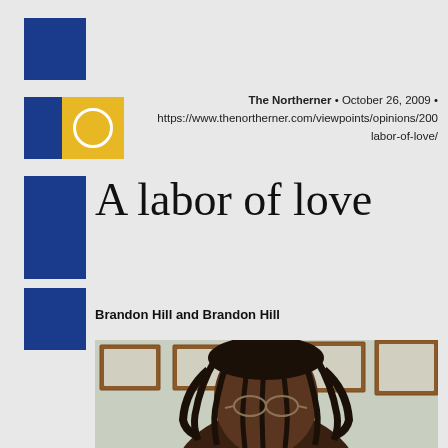The Northerner • October 26, 2009 • https://www.thenortherner.com/viewpoints/opinions/200 labor-of-love/
A labor of love
Brandon Hill and Brandon Hill
[Figure (photo): Portrait photo of a person with dreadlocks and glasses, seated in front of framed pictures on a wall]